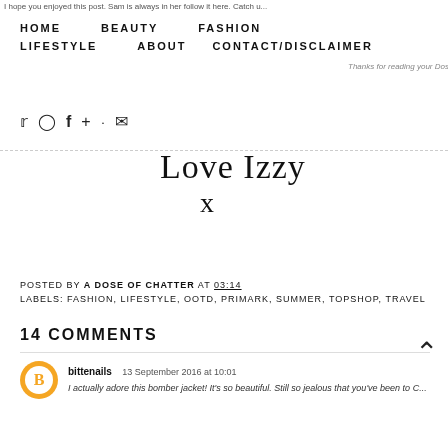I hope you enjoyed this post. Sam is always in her follow it here. Catch u...
Thanks for reading your Dose of Ch...
HOME   BEAUTY   FASHION   LIFESTYLE   ABOUT   CONTACT/DISCLAIMER
[Figure (other): Social media icons: Twitter, Instagram, Facebook, Google+, Snapchat, Email]
[Figure (illustration): Handwritten signature reading 'Love Izzy x']
POSTED BY A DOSE OF CHATTER AT 03:14
LABELS: FASHION, LIFESTYLE, OOTD, PRIMARK, SUMMER, TOPSHOP, TRAVEL
14 COMMENTS
bittenails   13 September 2016 at 10:01
I actually adore this bomber jacket! It's so beautiful. Still so jealous that you've been to C...